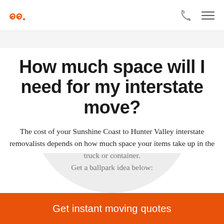How much space will I need for my interstate move?
The cost of your Sunshine Coast to Hunter Valley interstate removalists depends on how much space your items take up in the truck or container. Get a ballpark idea below:
[Figure (illustration): Gray semicircular arc shape at bottom of white content area]
Get instant moving quotes